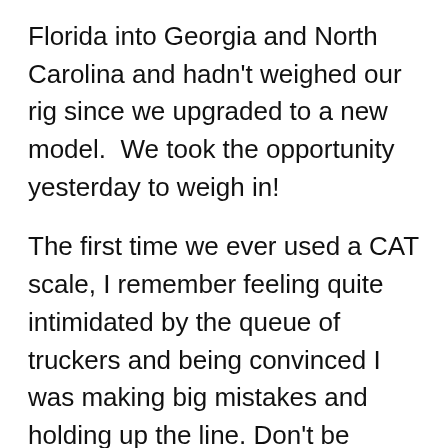Florida into Georgia and North Carolina and hadn't weighed our rig since we upgraded to a new model.  We took the opportunity yesterday to weigh in!
The first time we ever used a CAT scale, I remember feeling quite intimidated by the queue of truckers and being convinced I was making big mistakes and holding up the line. Don't be intimidated-- Turns out.... it's easy! Here's how it works:
Pull up to the scale-- it's separated into three sections. Your truck tires (or front tires of your motorhome) will be in the